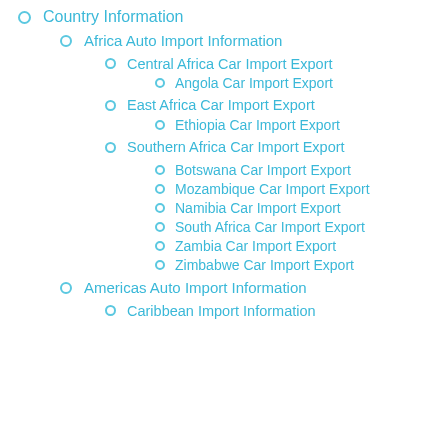Country Information
Africa Auto Import Information
Central Africa Car Import Export
Angola Car Import Export
East Africa Car Import Export
Ethiopia Car Import Export
Southern Africa Car Import Export
Botswana Car Import Export
Mozambique Car Import Export
Namibia Car Import Export
South Africa Car Import Export
Zambia Car Import Export
Zimbabwe Car Import Export
Americas Auto Import Information
Caribbean Import Information